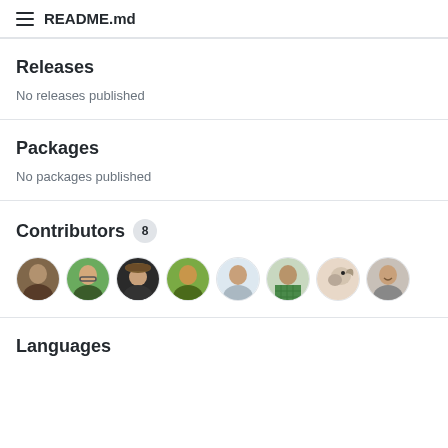README.md
Releases
No releases published
Packages
No packages published
Contributors 8
[Figure (photo): Eight circular contributor avatar photos in a row]
Languages